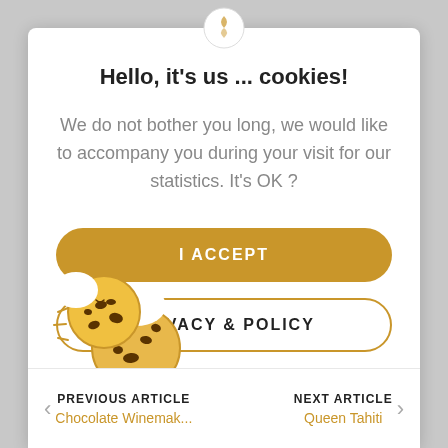Hello, it's us ... cookies!
We do not bother you long, we would like to accompany you during your visit for our statistics. It's OK ?
I ACCEPT
PRIVACY & POLICY
[Figure (illustration): Cookie illustration showing two chocolate chip cookies with bite marks and motion lines]
PREVIOUS ARTICLE Chocolate Winemak... | NEXT ARTICLE Queen Tahiti